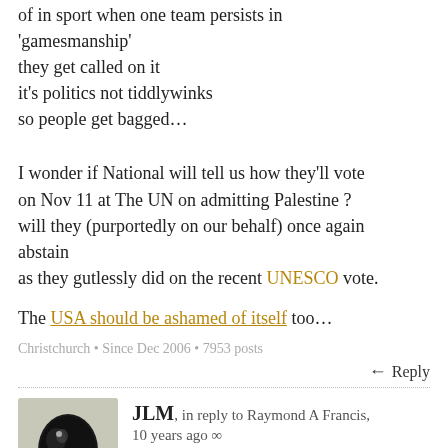of in sport when one team persists in
'gamesmanship'
they get called on it
it's politics not tiddlywinks
so people get bagged…
I wonder if National will tell us how they'll vote on Nov 11 at The UN on admitting Palestine ?
will they (purportedly on our behalf) once again abstain
as they gutlessly did on the recent UNESCO vote.

The USA should be ashamed of itself too…
Christchurch • Since Dec 2006 • 7953 posts
↩ Reply
JLM, in reply to Raymond A Francis, 10 years ago ∞
Disclaimer: Aged 62, and have been retired (self-funded) for 5 years
Ditto, and I support a Universal Basic Income,